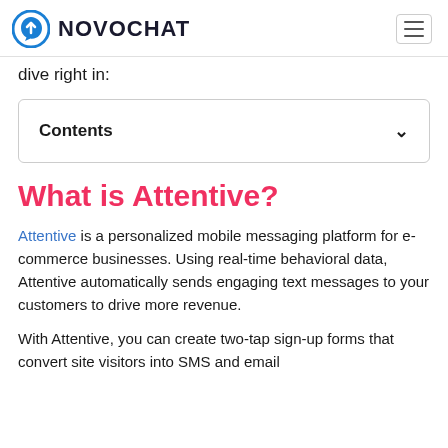NOVOCHAT
dive right in:
Contents
What is Attentive?
Attentive is a personalized mobile messaging platform for e-commerce businesses. Using real-time behavioral data, Attentive automatically sends engaging text messages to your customers to drive more revenue.
With Attentive, you can create two-tap sign-up forms that convert site visitors into SMS and email